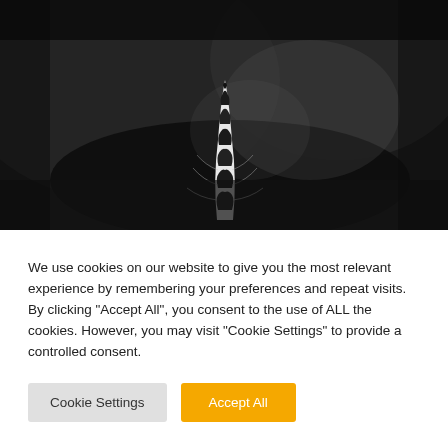[Figure (photo): Black and white close-up photograph of a bird's crest or feathered spike, striped black and white pattern, with small wispy side feathers, on a dark blurred background]
We use cookies on our website to give you the most relevant experience by remembering your preferences and repeat visits. By clicking "Accept All", you consent to the use of ALL the cookies. However, you may visit "Cookie Settings" to provide a controlled consent.